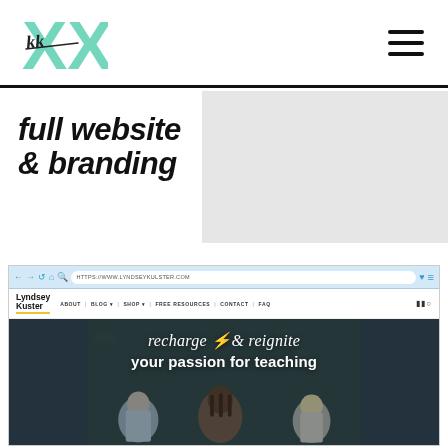XX logo and hamburger menu
full website & branding
[Figure (screenshot): Screenshot of Lyndsey Kuster website with browser chrome, navigation bar showing ABOUT, BLOG, SHOP, FREE RESOURCES, CONTACT, FAQ links, and hero image reading 'recharge & reignite your passion for teaching' with students in background]